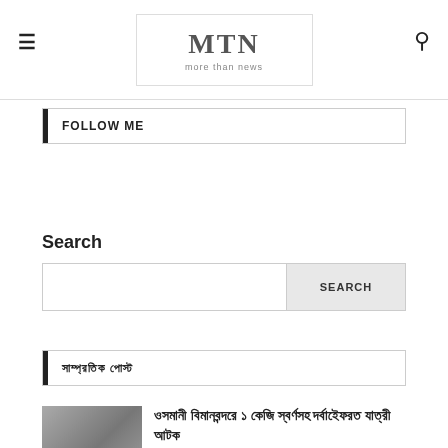MTN more than news
FOLLOW ME
Search
সাম্প্রতিক পোস্ট
ওসমানী বিমানবন্দরে ১ কেজি স্বর্ণসহ দর্বাইেফরত যাত্রী আটক